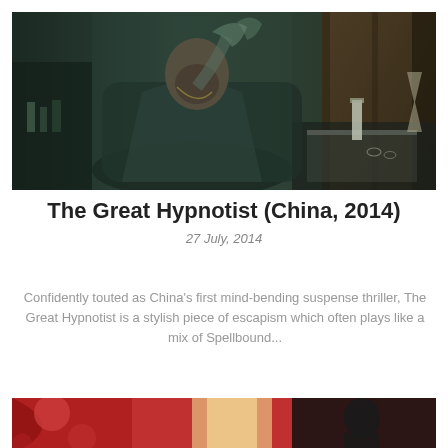[Figure (photo): Film still from The Great Hypnotist (China, 2014): a bald man seated in a dark leather chair in a wood-paneled room, with ghostly overlapping figures suggesting hypnosis, items on a table nearby including bottles and a glass.]
The Great Hypnotist (China, 2014)
27 July, 2014
Confidently touted as China's first mind-bending suspense thriller, The Great Hypnotist is a stylish piece of escapism which often plays like a mix of Spellbound...
[Figure (photo): Partial film still at the bottom of the page showing a red and black scene, partially cropped.]